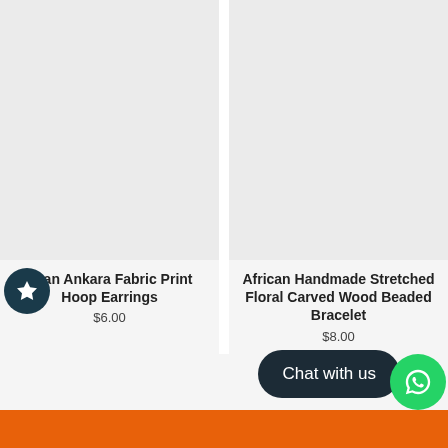[Figure (photo): Product image placeholder for African Ankara Fabric Print Hoop Earrings - light gray background]
[Figure (photo): Product image placeholder for African Handmade Stretched Floral Carved Wood Beaded Bracelet - light gray background]
African Ankara Fabric Print Hoop Earrings
$6.00
African Handmade Stretched Floral Carved Wood Beaded Bracelet
$8.00
Chat with us